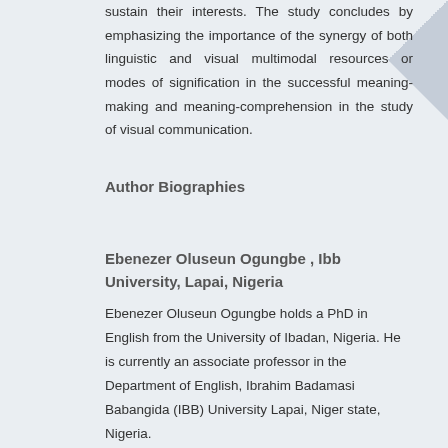sustain their interests. The study concludes by emphasizing the importance of the synergy of both linguistic and visual multimodal resources or modes of signification in the successful meaning-making and meaning-comprehension in the study of visual communication.
Author Biographies
Ebenezer Oluseun Ogungbe , Ibb University, Lapai, Nigeria
Ebenezer Oluseun Ogungbe holds a PhD in English from the University of Ibadan, Nigeria. He is currently an associate professor in the Department of English, Ibrahim Badamasi Babangida (IBB) University Lapai, Niger state, Nigeria.